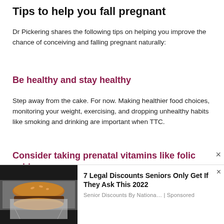Tips to help you fall pregnant
Dr Pickering shares the following tips on helping you improve the chance of conceiving and falling pregnant naturally:
Be healthy and stay healthy
Step away from the cake. For now. Making healthier food choices, monitoring your weight, exercising, and dropping unhealthy habits like smoking and drinking are important when TTC.
Consider taking prenatal vitamins like folic acid
[Figure (photo): Advertisement showing a burger wrapped in foil with text '7 Legal Discounts Seniors Only Get If They Ask This 2022' sponsored by Senior Discounts By Nationa...]